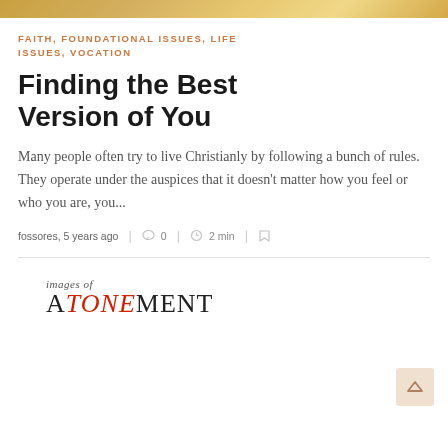[Figure (photo): Cropped photo strip at top of page showing warm golden/amber tones, appears to be a blurred background image]
FAITH, FOUNDATIONAL ISSUES, LIFE ISSUES, VOCATION
Finding the Best Version of You
Many people often try to live Christianly by following a bunch of rules. They operate under the auspices that it doesn't matter how you feel or who you are, you...
fossores, 5 years ago | 0 | 2 min |
[Figure (logo): Book logo reading 'images of ATONEMENT' with stylized text where 'TONE' in ATONEMENT is in red italic]